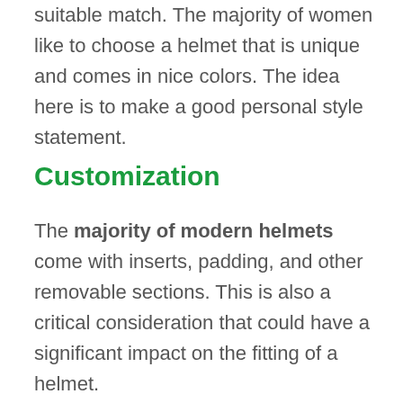suitable match. The majority of women like to choose a helmet that is unique and comes in nice colors. The idea here is to make a good personal style statement.
Customization
The majority of modern helmets come with inserts, padding, and other removable sections. This is also a critical consideration that could have a significant impact on the fitting of a helmet.